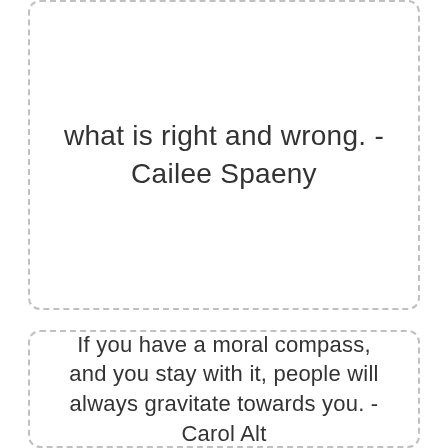what is right and wrong. - Cailee Spaeny
If you have a moral compass, and you stay with it, people will always gravitate towards you. - Carol Alt